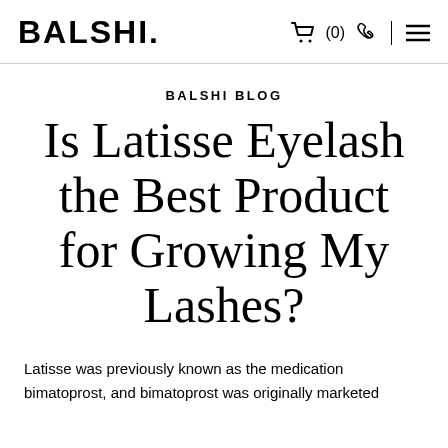BALSHI.
BALSHI BLOG
Is Latisse Eyelash the Best Product for Growing My Lashes?
Latisse was previously known as the medication bimatoprost, and bimatoprost was originally marketed